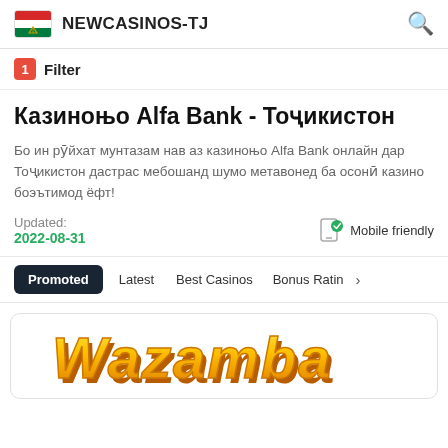NEWCASINOS-TJ
1 Filter
Казиноњо Alfa Bank - Тоҷикистон
Бо ин рӯйхат мунтазам нав аз казиноњо Alfa Bank онлайн дар Тоҷикистон дастрас мебошанд шумо метавонед ба осонӣ казино боэътимод ёфт!
Updated:
2022-08-31
Mobile friendly
Promoted    Latest    Best Casinos    Bonus Ratin >
[Figure (logo): Wazamba casino logo in yellow/gold 3D stylized text on white background]